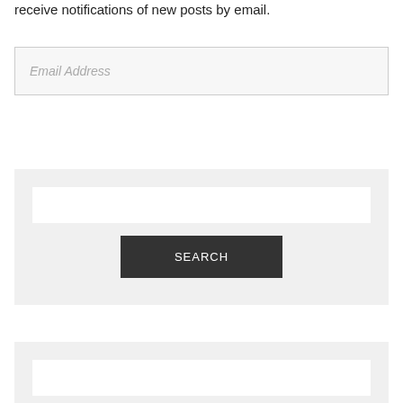receive notifications of new posts by email.
Email Address
SUBSCRIBE
SEARCH
SEARCH